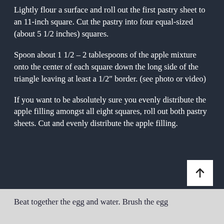Lightly flour a surface and roll out the first pastry sheet to an 11-inch square. Cut the pastry into four equal-sized (about 5 1/2 inches) squares.
Spoon about 1 1/2 – 2 tablespoons of the apple mixture onto the center of each square down the long side of the triangle leaving at least a 1/2″ border. (see photo or video)
If you want to be absolutely sure you evenly distribute the apple filling amongst all eight squares, roll out both pastry sheets. Cut and evenly distribute the apple filling.
Beat together the egg and water. Brush the egg